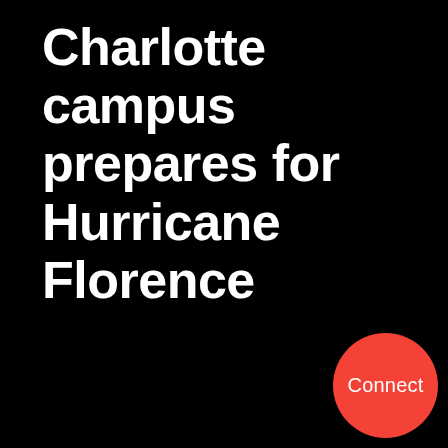Charlotte campus prepares for Hurricane Florence
[Figure (infographic): Red circular 'Connect' button in bottom-right corner on black background]